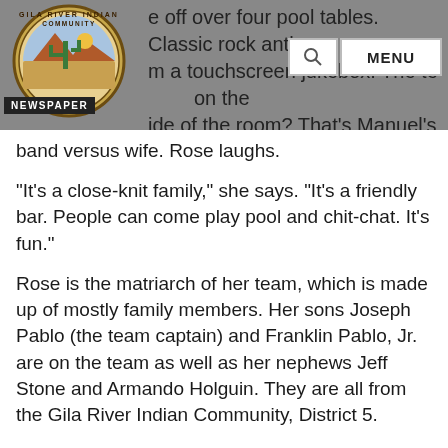e off over four pool tables. Classic rock anthems m a touchscreen jukebox. The team on the ide of the room? That's Manuel's team. Tonight
[Figure (logo): Gila River Indian Community seal/logo — circular emblem with cactus, mountains, sun, and text 'GILA RIVER INDIAN COMMUNITY ARIZONA 1939']
band versus wife. Rose laughs.
"It's a close-knit family," she says. "It's a friendly bar. People can come play pool and chit-chat. It's fun."
Rose is the matriarch of her team, which is made up of mostly family members. Her sons Joseph Pablo (the team captain) and Franklin Pablo, Jr. are on the team as well as her nephews Jeff Stone and Armando Holguin. They are all from the Gila River Indian Community, District 5.
Mike Romero isn't a Community member, but "he might as well be" family, Stone says. Romero works for GRIC Behavioral Health in Sacaton. Joe's wife Shea joined the team last year, and the most recent